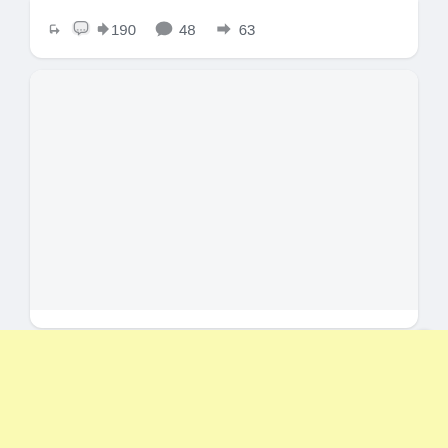190  48  63
[Figure (screenshot): Empty white image area inside a Facebook-style card]
9 Fashion Items That Every Plus Size Wardrobe Should Have
More...
452  113  151
[Figure (other): Light yellow advertisement banner area]